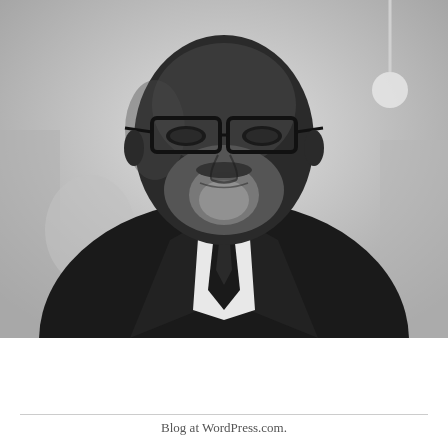[Figure (photo): Black and white portrait photograph of a middle-aged Black man wearing rectangular glasses, a black suit jacket, white dress shirt, and dark tie. He has a salt-and-pepper beard. The background appears to be an indoor setting, slightly blurred.]
Blog at WordPress.com.